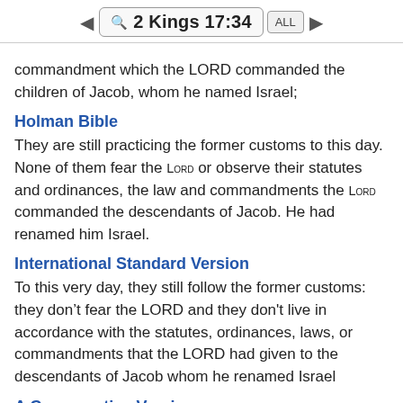2 Kings 17:34
commandment which the LORD commanded the children of Jacob, whom he named Israel;
Holman Bible
They are still practicing the former customs to this day. None of them fear the Lord or observe their statutes and ordinances, the law and commandments the Lord commanded the descendants of Jacob. He had renamed him Israel.
International Standard Version
To this very day, they still follow the former customs: they don’t fear the LORD and they don't live in accordance with the statutes, ordinances, laws, or commandments that the LORD had given to the descendants of Jacob whom he renamed Israel
A Conservative Version
To this day they do after the former manner. They do